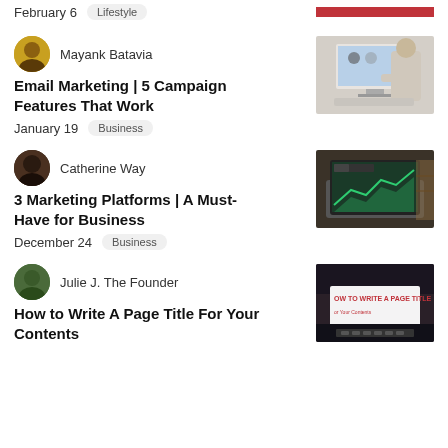February 6  Lifestyle
[Figure (photo): Red/pink bar at top right, partially visible]
Mayank Batavia
Email Marketing | 5 Campaign Features That Work
January 19  Business
[Figure (photo): Two people at a computer monitor with UX/design content]
Catherine Way
3 Marketing Platforms | A Must-Have for Business
December 24  Business
[Figure (photo): Laptop showing analytics charts on screen]
Julie J. The Founder
How to Write A Page Title For Your Contents
[Figure (screenshot): Partial screenshot showing 'HOW TO WRITE A PAGE TITLE' text in red on dark background]